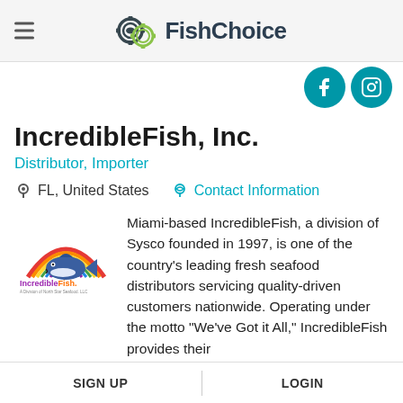FishChoice
IncredibleFish, Inc.
Distributor, Importer
FL, United States   Contact Information
[Figure (logo): IncredibleFish company logo with rainbow and tuna fish graphic]
Miami-based IncredibleFish, a division of Sysco founded in 1997, is one of the country's leading fresh seafood distributors servicing quality-driven customers nationwide. Operating under the motto "We've Got it All," IncredibleFish provides their
SIGN UP   LOGIN